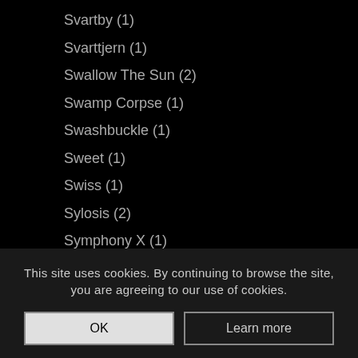Svartby (1)
Svarttjern (1)
Swallow The Sun (2)
Swamp Corpse (1)
Swashbuckle (1)
Sweet (1)
Swiss (1)
Sylosis (2)
Symphony X (1)
Talbot (1)
Tami T (1)
Tank (1)
Tankard (1)
Tanzwut (1)
Tarja (1)
Tenside (1)
This site uses cookies. By continuing to browse the site, you are agreeing to our use of cookies.